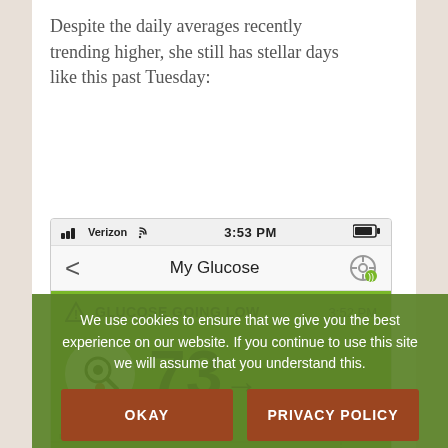Despite the daily averages recently trending higher, she still has stellar days like this past Tuesday:
[Figure (screenshot): Mobile phone screenshot showing a glucose monitoring app. Status bar shows Verizon, 3:53 PM, battery. Navigation bar shows back arrow and 'My Glucose' title. Green alert panel shows 'GLUCOSE GOING LOW' at 3:52 PM with value 73 mg/dL and a rightward arrow trend indicator. Below is a partially visible glucose trend chart.]
We use cookies to ensure that we give you the best experience on our website. If you continue to use this site we will assume that you understand this.
OKAY
PRIVACY POLICY